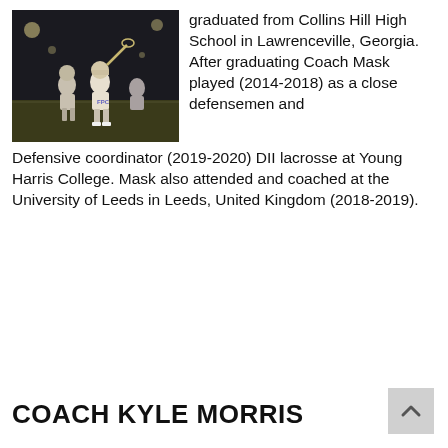[Figure (photo): Lacrosse players in action on a field at night, players wearing light uniforms with purple accents]
graduated from Collins Hill High School in Lawrenceville, Georgia. After graduating Coach Mask played (2014-2018) as a close defensemen and Defensive coordinator (2019-2020) DII lacrosse at Young Harris College. Mask also attended and coached at the University of Leeds in Leeds, United Kingdom (2018-2019).
COACH KYLE MORRIS